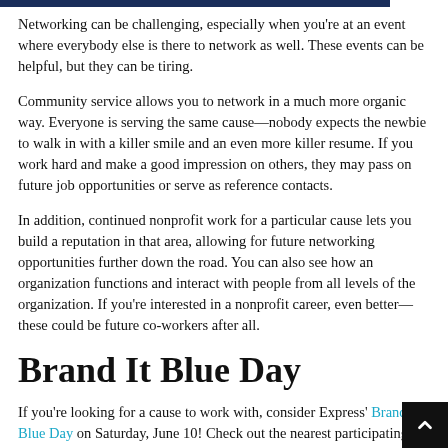Networking can be challenging, especially when you're at an event where everybody else is there to network as well. These events can be helpful, but they can be tiring.
Community service allows you to network in a much more organic way. Everyone is serving the same cause—nobody expects the newbie to walk in with a killer smile and an even more killer resume. If you work hard and make a good impression on others, they may pass on future job opportunities or serve as reference contacts.
In addition, continued nonprofit work for a particular cause lets you build a reputation in that area, allowing for future networking opportunities further down the road. You can also see how an organization functions and interact with people from all levels of the organization. If you're interested in a nonprofit career, even better—these could be future co-workers after all.
Brand It Blue Day
If you're looking for a cause to work with, consider Express' Brand It Blue Day on Saturday, June 10! Check out the nearest participating Express office today.